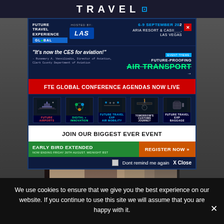TRAVEL
[Figure (screenshot): Future Travel Experience Global popup ad for FTE Global Conference, 6-9 September, Aria Resort & Casino, Las Vegas, with quote from Rosemary A. Vassiliadis about CES for aviation, event theme Future-Proofing Air Transport, conference agendas, early bird registration extended]
JOIN OUR BIGGEST EVER EVENT
EARLY BIRD EXTENDED
NOW ENDING FRIDAY 26TH AUGUST. MIDNIGHT BST
REGISTER NOW >>
Dont remind me again   X Close
We use cookies to ensure that we give you the best experience on our website. If you continue to use this site we will assume that you are happy with it.